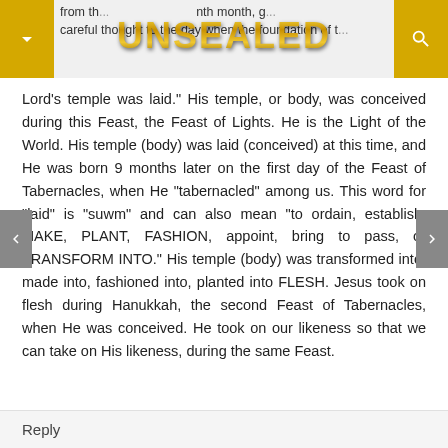from th... ...nth month, g... careful thought to the day when the foundation of t...
Lord's temple was laid." His temple, or body, was conceived during this Feast, the Feast of Lights. He is the Light of the World. His temple (body) was laid (conceived) at this time, and He was born 9 months later on the first day of the Feast of Tabernacles, when He "tabernacled" among us. This word for "laid" is "suwm" and can also mean "to ordain, establish, MAKE, PLANT, FASHION, appoint, bring to pass, or TRANSFORM INTO." His temple (body) was transformed into, made into, fashioned into, planted into FLESH. Jesus took on flesh during Hanukkah, the second Feast of Tabernacles, when He was conceived. He took on our likeness so that we can take on His likeness, during the same Feast.
Reply